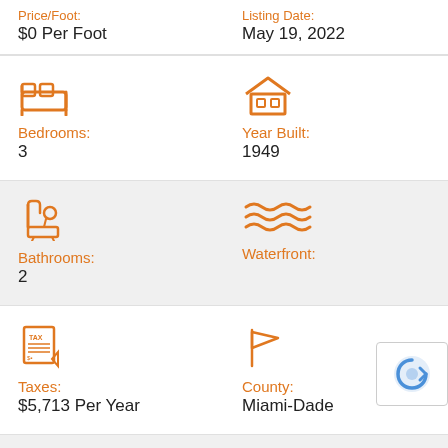$0 Per Foot
May 19, 2022
[Figure (illustration): Orange bed/bedroom icon]
Bedrooms: 3
[Figure (illustration): Orange house icon]
Year Built: 1949
[Figure (illustration): Orange bathroom/shower icon]
Bathrooms: 2
[Figure (illustration): Orange waterfront/waves icon]
Waterfront:
[Figure (illustration): Orange tax document icon]
Taxes: $5,713 Per Year
[Figure (illustration): Orange flag/county icon]
County: Miami-Dade
Virtual Tour: